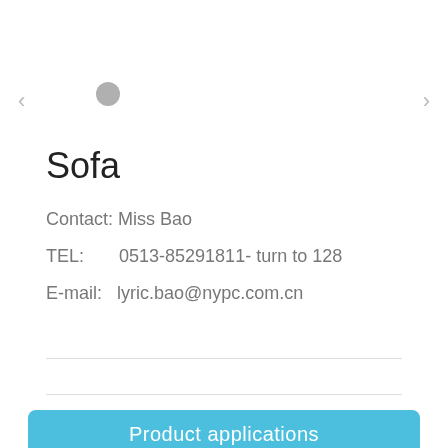Sofa
Contact: Miss Bao
TEL:       0513-85291811- turn to 128
E-mail:   lyric.bao@nypc.com.cn
Product applications